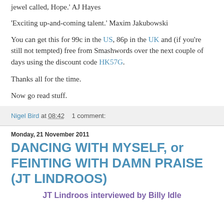'jewel called, Hope.' AJ Hayes
'Exciting up-and-coming talent.' Maxim Jakubowski
You can get this for 99c in the US, 86p in the UK and (if you're still not tempted) free from Smashwords over the next couple of days using the discount code HK57G.
Thanks all for the time.
Now go read stuff.
Nigel Bird at 08:42   1 comment:
Monday, 21 November 2011
DANCING WITH MYSELF, or FEINTING WITH DAMN PRAISE (JT LINDROOS)
JT Lindroos interviewed by Billy Idle